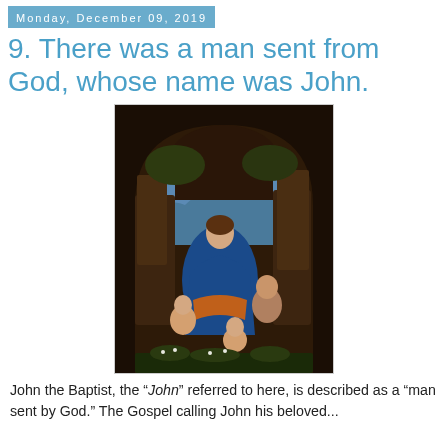Monday, December 09, 2019
9. There was a man sent from God, whose name was John.
[Figure (illustration): Leonardo da Vinci's Virgin of the Rocks painting showing Madonna with the infant Jesus, infant John the Baptist, and an angel in a rocky grotto setting.]
John the Baptist, the “John” referred to here, is described as a “man sent by God.” The Gospel calling John his beloved...